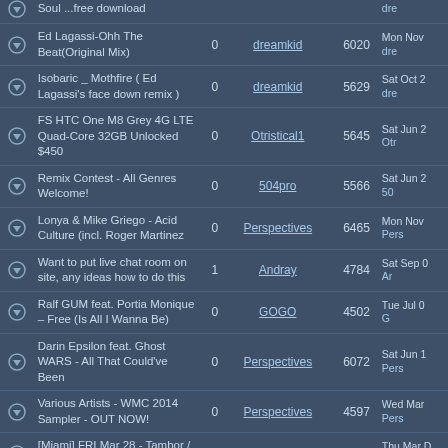|  | Title | Replies | Author | Views | Last Post |
| --- | --- | --- | --- | --- | --- |
| ▼ | Soul ...free download | 0 |  |  | Mon Nov ... dre |
| ▼ | Ed Lagassi-Ohh The Beat(Original Mix) | 0 | dreamkid | 6020 | Mon Nov dre |
| ▼ | Isobaric _ Mothfire ( Ed Lagassi's face down remix ) | 0 | dreamkid | 5629 | Sat Oct 2 dre |
| ▼ | FS HTC One M8 Grey 4G LTE Quad-Core 32GB Unlocked $450 | 0 | Otristical1 | 5645 | Sat Jun 2 Otr |
| ▼ | Remix Contest - All Genres Welcome! | 0 | 504pro | 5566 | Sat Jun 2 50 |
| ▼ | Lonya & Mike Griego - Acid Culture (incl. Roger Martinez | 0 | Perspectives | 6465 | Mon Nov Pers |
| ▼ | Want to put live chat room on site, any ideas how to do this | 1 | Andray | 4784 | Sat Sep 0 Ar |
| ▼ | Ralf GUM feat. Portia Monique – Free (Is All I Wanna Be) | 0 | GOGO | 4502 | Tue Jul 0 G |
| ▼ | Darin Epsilon feat. Ghost WARS - All That Could've Been | 0 | Perspectives | 6072 | Sat Jun 1 Pers |
| ▼ | Various Artists - WMC 2014 Sampler - OUT NOW! | 0 | Perspectives | 4597 | Wed Mar Pers |
| ▼ | [Miami] FRI Mar 28 - Tambor / Tribe Party - WMC | 1 | openbarmusic | 4726 | Thu Mar D openb |
| ▼ | Tues Mar 25 - Ocean Drive Sessions Season | 1 | openbarmusic | 4575 | Fri Feb ... |